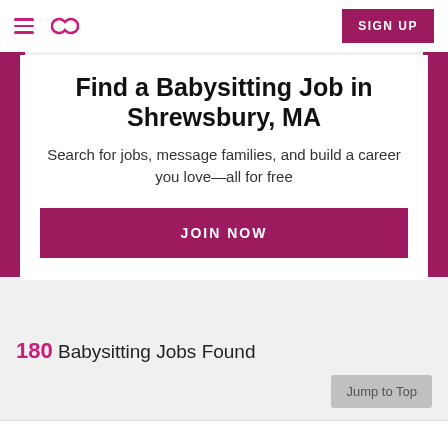Sittercity navigation header with hamburger menu, logo, and SIGN UP button
Find a Babysitting Job in Shrewsbury, MA
Search for jobs, message families, and build a career you love—all for free
JOIN NOW
180 Babysitting Jobs Found
Jump to Top